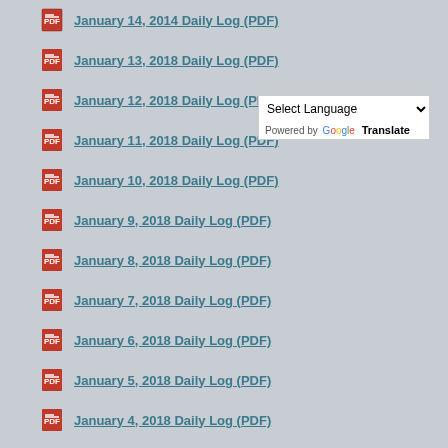January 14, 2014 Daily Log (PDF)
January 13, 2018 Daily Log (PDF)
January 12, 2018 Daily Log (PDF)
January 11, 2018 Daily Log (PDF)
January 10, 2018 Daily Log (PDF)
January 9, 2018 Daily Log (PDF)
January 8, 2018 Daily Log (PDF)
January 7, 2018 Daily Log (PDF)
January 6, 2018 Daily Log (PDF)
January 5, 2018 Daily Log (PDF)
January 4, 2018 Daily Log (PDF)
January 3, 2018 Daily Log (PDF)
January 2, 2018 Daily Log (PDF)
January 1, 2018 Daily Log (PDF)